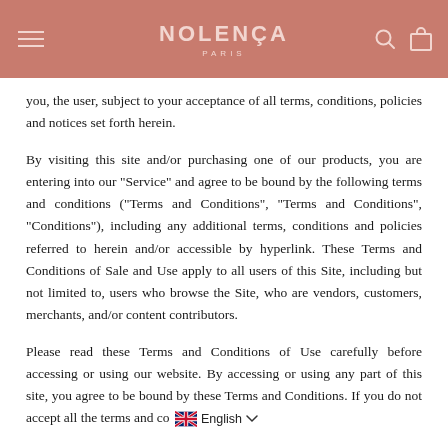NOLENÇA PARIS
you, the user, subject to your acceptance of all terms, conditions, policies and notices set forth herein.
By visiting this site and/or purchasing one of our products, you are entering into our "Service" and agree to be bound by the following terms and conditions ("Terms and Conditions", "Terms and Conditions", "Conditions"), including any additional terms, conditions and policies referred to herein and/or accessible by hyperlink. These Terms and Conditions of Sale and Use apply to all users of this Site, including but not limited to, users who browse the Site, who are vendors, customers, merchants, and/or content contributors.
Please read these Terms and Conditions of Use carefully before accessing or using our website. By accessing or using any part of this site, you agree to be bound by these Terms and Conditions. If you do not accept all the terms and co…